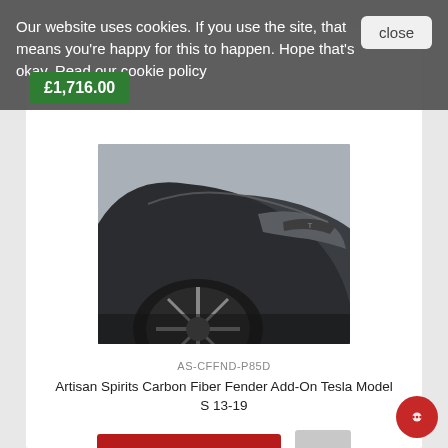Our website uses cookies. If you use the site, that means you're happy for this to happen. Hope that's okay. Read our cookie policy
close
£1,716.00
[Figure (photo): Close-up photo of a dark grey Tesla Model S car fender/wheel arch with carbon fiber add-on parts and alloy wheel visible]
AS-CFFND-P85D
Artisan Spirits Carbon Fiber Fender Add-On Tesla Model S 13-19
ADD TO CART